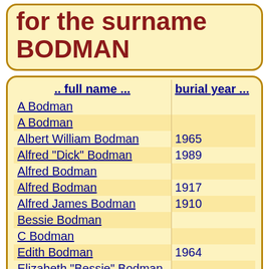for the surname BODMAN
| .. full name ... | burial year ... |
| --- | --- |
| A Bodman |  |
| A Bodman |  |
| Albert William Bodman | 1965 |
| Alfred "Dick" Bodman | 1989 |
| Alfred Bodman |  |
| Alfred Bodman | 1917 |
| Alfred James Bodman | 1910 |
| Bessie Bodman |  |
| C Bodman |  |
| Edith Bodman | 1964 |
| Elizabeth "Bessie" Bodman |  |
| Elsie May Bodman | 1985 |